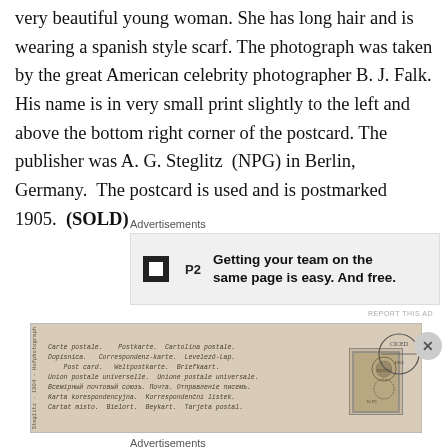very beautiful young woman. She has long hair and is wearing a spanish style scarf. The photograph was taken by the great American celebrity photographer B. J. Falk. His name is in very small print slightly to the left and above the bottom right corner of the postcard. The publisher was A. G. Steglitz (NPG) in Berlin, Germany. The postcard is used and is postmarked 1905. (SOLD)
Advertisements
[Figure (other): Advertisement banner for P2 with text: Getting your team on the same page is easy. And free.]
[Figure (photo): Scanned back of an antique postcard circa 1905 showing multilingual postal text and a postage stamp with cancellation mark.]
Advertisements